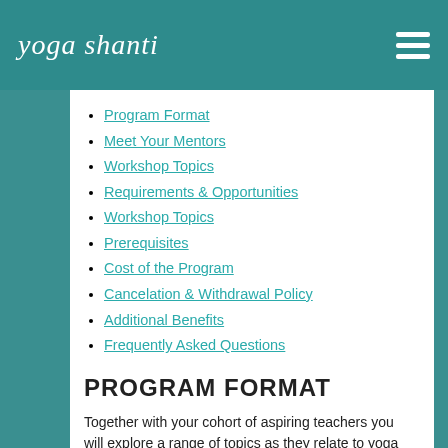yoga shanti
Program Format
Meet Your Mentors
Workshop Topics
Requirements & Opportunities
Workshop Topics
Prerequisites
Cost of the Program
Cancelation & Withdrawal Policy
Additional Benefits
Frequently Asked Questions
PROGRAM FORMAT
Together with your cohort of aspiring teachers you will explore a range of topics as they relate to yoga and teaching private or group classes in 11 online evening workshops that take place on select Wednesdays and Sundays this Spring (see dates below). A nurturing and supportive atmosphere is encouraged through the